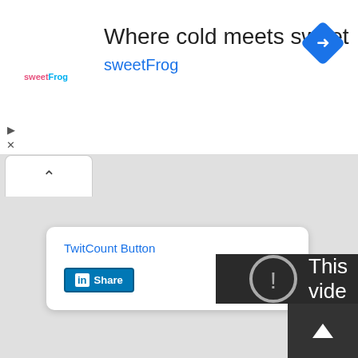[Figure (screenshot): Advertisement banner for sweetFrog frozen yogurt. Shows 'sweetFrog' logo on left, headline 'Where cold meets sweet' and brand name 'sweetFrog' in blue, with a blue navigation diamond icon on the right.]
TwitCount Button
[Figure (screenshot): LinkedIn Share button - blue button with 'in' logo and 'Share' text]
[Figure (screenshot): Dark video player area showing error icon (circle with exclamation) and partial text 'This video']